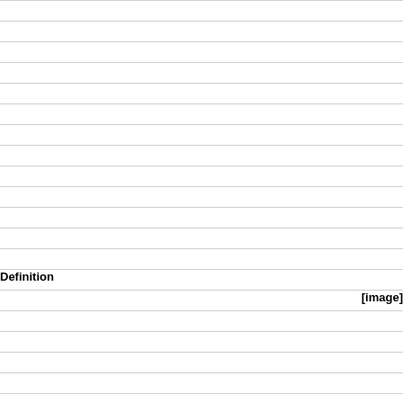Definition
[Figure (photo): [image]]
Term
Russolo, Revolt, 1911